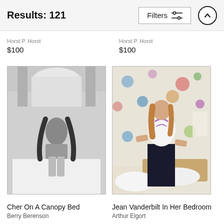Results: 121
Horst P. Horst
$100
Horst P. Horst
$100
[Figure (photo): Black and white photograph titled 'Cher On A Canopy Bed' by Berry Berenson. Shows Cher kneeling on a bed with an ornate canopy and headboard.]
[Figure (photo): Color photograph titled 'Jean Vanderbilt In Her Bedroom' by Arthur Elgort. Shows a woman standing in front of a floral wallpaper background.]
Cher On A Canopy Bed
Berry Berenson
Jean Vanderbilt In Her Bedroom
Arthur Elgort